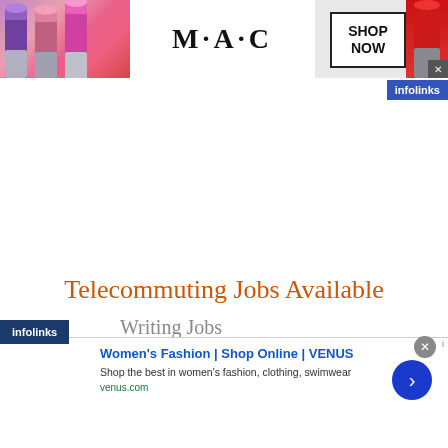[Figure (infographic): MAC Cosmetics banner advertisement showing coloured lipstick tubes on left, MAC logo in centre, SHOP NOW button in bordered box, red lipstick on right edge, with close X button]
[Figure (logo): infolinks badge in blue at top right]
Telecommuting Jobs Available
Writing Jobs
[Figure (logo): infolinks badge in dark blue at bottom left]
[Figure (infographic): Women's Fashion | Shop Online | VENUS advertisement with website thumbnail, headline, description and green URL, blue arrow button on right]
Women's Fashion | Shop Online | VENUS
Shop the best in women's fashion, clothing, swimwear
venus.com